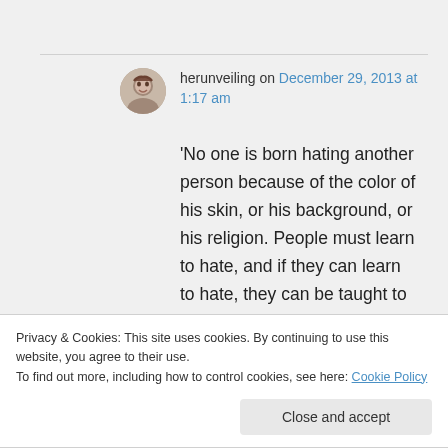herunveiling on December 29, 2013 at 1:17 am
'No one is born hating another person because of the color of his skin, or his background, or his religion. People must learn to hate, and if they can learn to hate, they can be taught to love, for love
Privacy & Cookies: This site uses cookies. By continuing to use this website, you agree to their use.
To find out more, including how to control cookies, see here: Cookie Policy